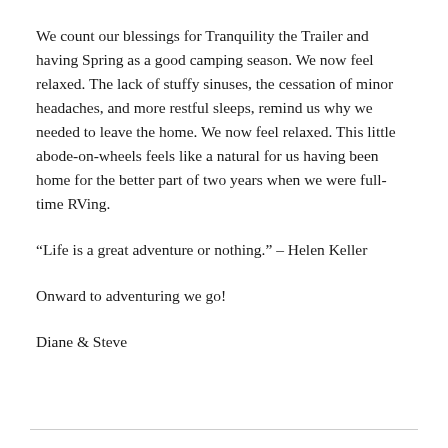We count our blessings for Tranquility the Trailer and having Spring as a good camping season. We now feel relaxed. The lack of stuffy sinuses, the cessation of minor headaches, and more restful sleeps, remind us why we needed to leave the home. We now feel relaxed. This little abode-on-wheels feels like a natural for us having been home for the better part of two years when we were full-time RVing.
“Life is a great adventure or nothing.” – Helen Keller
Onward to adventuring we go!
Diane & Steve